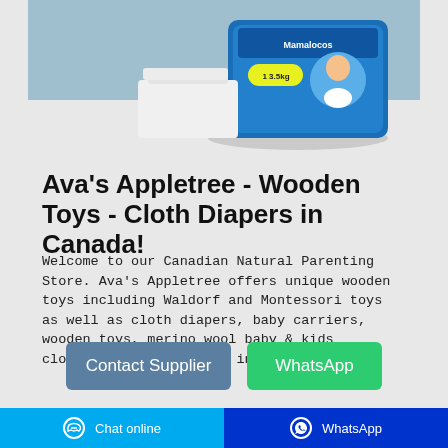[Figure (photo): Product photo showing a blue package of diapers (Mamalocos brand, Size 1) on a white surface with a white cloth/towel in the background against a blue-grey wall.]
Ava's Appletree - Wooden Toys - Cloth Diapers in Canada!
Welcome to our Canadian Natural Parenting Store. Ava's Appletree offers unique wooden toys including Waldorf and Montessori toys as well as cloth diapers, baby carriers, wooden toys, merino wool baby & kids clothing! Cloth Diapers in Toronto...
Contact Supplier
WhatsApp
Chat online   WhatsApp